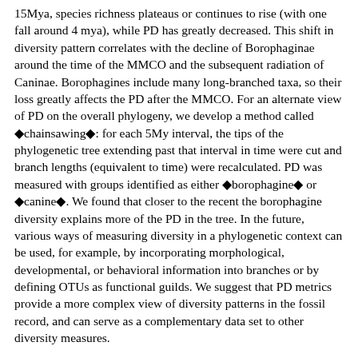15Mya, species richness plateaus or continues to rise (with one fall around 4 mya), while PD has greatly decreased. This shift in diversity pattern correlates with the decline of Borophaginae around the time of the MMCO and the subsequent radiation of Caninae. Borophagines include many long-branched taxa, so their loss greatly affects the PD after the MMCO. For an alternate view of PD on the overall phylogeny, we develop a method called ‘chainsawing’: for each 5My interval, the tips of the phylogenetic tree extending past that interval in time were cut and branch lengths (equivalent to time) were recalculated. PD was measured with groups identified as either ‘borophagine’ or ‘canine’. We found that closer to the recent the borophagine diversity explains more of the PD in the tree. In the future, various ways of measuring diversity in a phylogenetic context can be used, for example, by incorporating morphological, developmental, or behavioral information into branches or by defining OTUs as functional guilds. We suggest that PD metrics provide a more complex view of diversity patterns in the fossil record, and can serve as a complementary data set to other diversity measures.
Oxygen isotopic variability and preservation in Tyrannosaurus rex, modern ratites and crocodylians: Revisiting the thermophysiology of T. rex using δ18O
MARK GOODWIN, University of California Museum of Paleontology, Berkeley, CA, USA; Kathryn Stanton, Sacramento